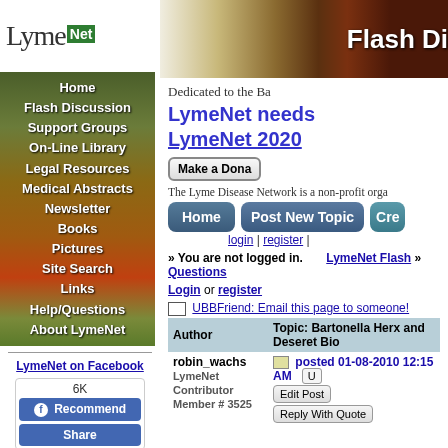[Figure (logo): LymeNet logo with green Net block]
[Figure (illustration): Navigation menu on foliage background with Home, Flash Discussion, Support Groups, On-Line Library, Legal Resources, Medical Abstracts, Newsletter, Books, Pictures, Site Search, Links, Help/Questions, About LymeNet]
LymeNet on Facebook
6K
Recommend
Share
LymeNet on Twitter
[Figure (illustration): Flash Discussion banner with autumn foliage background]
Dedicated to the Ba
LymeNet needs
LymeNet 2020
Make a Dona
The Lyme Disease Network is a non-profit orga
Home | Post New Topic | Cre
login | register |
» You are not logged in. Login or register
LymeNet Flash » Questions
UBBFriend: Email this page to someone!
| Author | Topic: Bartonella Herx and Deseret Bio |
| --- | --- |
| robin_wachs
LymeNet Contributor
Member # 3525 | posted 01-08-2010 12:15 AM
Edit Post | Reply With Quote |